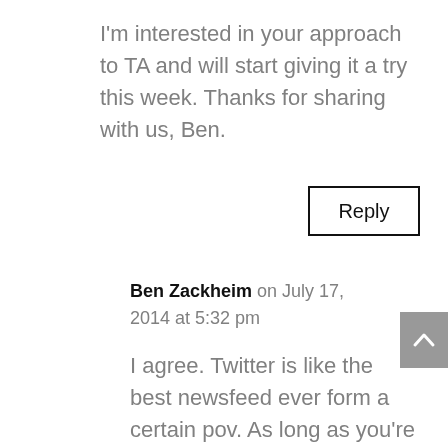I'm interested in your approach to TA and will start giving it a try this week. Thanks for sharing with us, Ben.
Reply
Ben Zackheim on July 17, 2014 at 5:32 pm
I agree. Twitter is like the best newsfeed ever form a certain pov. As long as you're connecting with the right